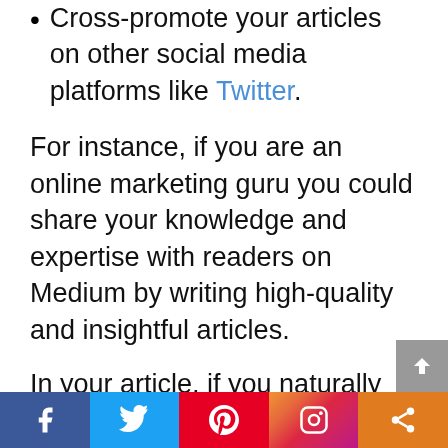Cross-promote your articles on other social media platforms like Twitter.
For instance, if you are an online marketing guru you could share your knowledge and expertise with readers on Medium by writing high-quality and insightful articles.
In your article, if you naturally talk about a product or service in your niche (i.e. like one of these email marketing affiliate programs) then you could definitely take the opportunity to link out to it with your unique affiliate ID.
Essentially, in exchange for the value you